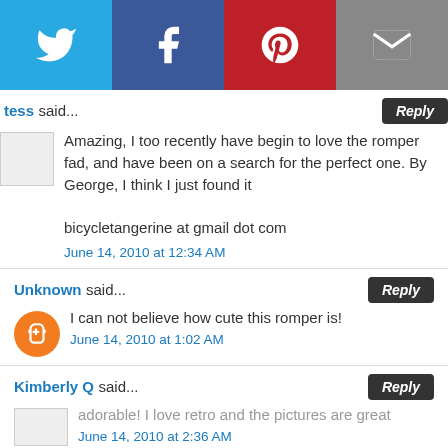[Figure (infographic): Social share bar with Twitter (blue), Facebook (dark blue), Pinterest (red), and Email (grey) buttons]
tess said...
Amazing, I too recently have begin to love the romper fad, and have been on a search for the perfect one. By George, I think I just found it

bicycletangerine at gmail dot com
June 14, 2010 at 12:34 AM
Unknown said...
I can not believe how cute this romper is!
June 14, 2010 at 1:02 AM
Kimberly Q said...
adorable! I love retro and the pictures are great
June 14, 2010 at 2:36 AM